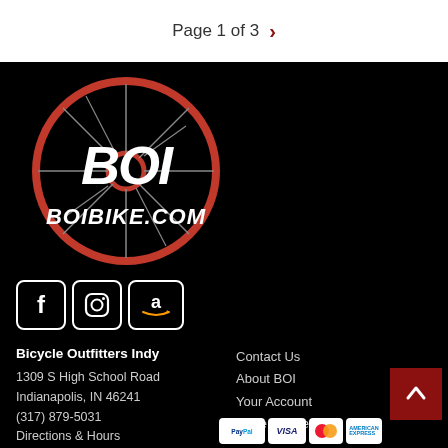Page 1 of 3
[Figure (logo): BOI Bicycle Outfitters Indy logo with red and black bicycle wheel graphic and BOIBIKE.COM text]
[Figure (infographic): Social media icons: Facebook, Instagram, Amazon]
Bicycle Outfitters Indy
1309 S High School Road
Indianapolis, IN 46241
(317) 879-5031
Directions & Hours
Contact Us
About BOI
Your Account
Store Policies
[Figure (infographic): Payment icons: PayPal, VISA, Mastercard, American Express]